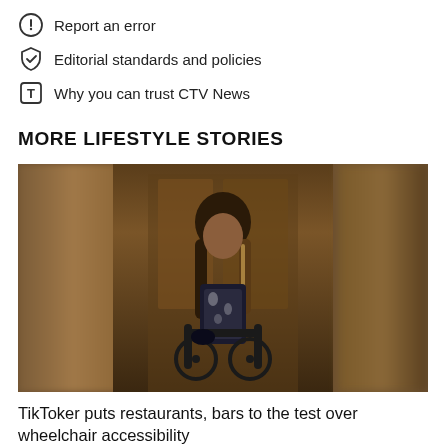Report an error
Editorial standards and policies
Why you can trust CTV News
MORE LIFESTYLE STORIES
[Figure (photo): A person with long brown highlighted hair sitting in a wheelchair wearing a floral black and white top, inside what appears to be a wood-panelled room or restaurant.]
TikToker puts restaurants, bars to the test over wheelchair accessibility